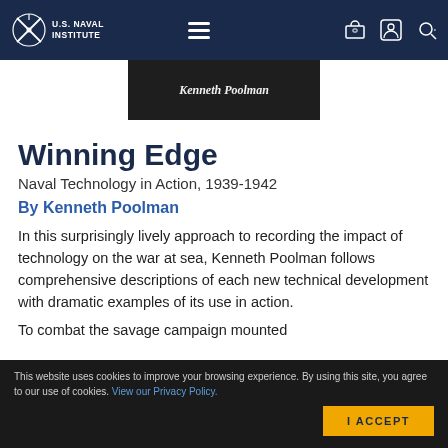U.S. Naval Institute — navigation bar with logo, hamburger menu, and icons
[Figure (photo): Book cover image showing Kenneth Poolman name text over dark background]
Winning Edge
Naval Technology in Action, 1939-1942
By Kenneth Poolman
In this surprisingly lively approach to recording the impact of technology on the war at sea, Kenneth Poolman follows comprehensive descriptions of each new technical development with dramatic examples of its use in action.
To combat the savage campaign mounted
This website uses cookies to improve your browsing experience. By using this site, you agree to our use of cookies. View our Privacy Policy.